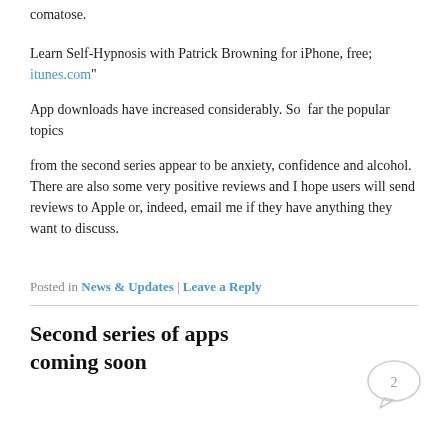comatose.
Learn Self-Hypnosis with Patrick Browning for iPhone, free; itunes.com"
App downloads have increased considerably. So  far the popular topics
from the second series appear to be anxiety, confidence and alcohol. There are also some very positive reviews and I hope users will send reviews to Apple or, indeed, email me if they have anything they want to discuss.
Posted in News & Updates | Leave a Reply
Second series of apps coming soon